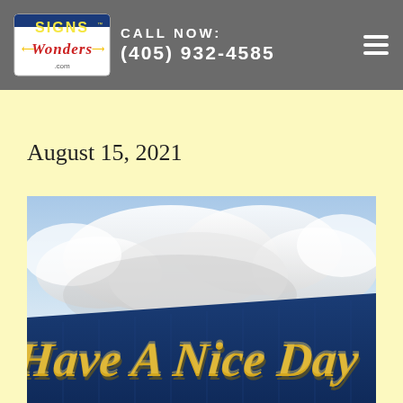CALL NOW: (405) 932-4585
August 15, 2021
[Figure (photo): A blue sign with gold script text reading 'Have A Nice Day' against a cloudy blue sky background]